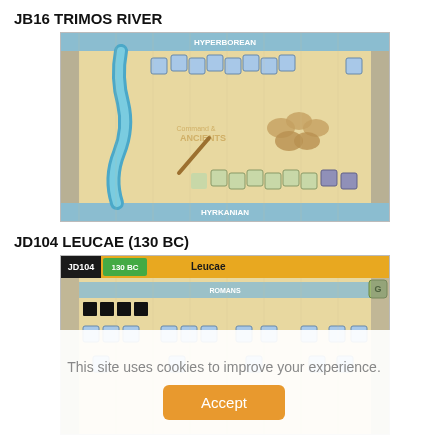JB16 TRIMOS RIVER
[Figure (screenshot): Hex-based strategy game map showing JB16 Trimos River scenario with blue river, hexagonal terrain tiles, and unit tokens for Hyperborean and Hyrkanian factions]
JD104 LEUCAE (130 BC)
[Figure (screenshot): Hex-based strategy game map showing JD104 Leucae 130 BC scenario with Roman faction header bar, unit tokens on hexagonal terrain]
This site uses cookies to improve your experience.